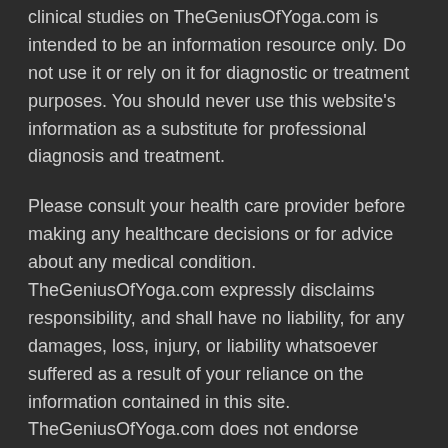clinical studies on TheGeniusOfYoga.com is intended to be an information resource only. Do not use it or rely on it for diagnostic or treatment purposes. You should never use this website's information as a substitute for professional diagnosis and treatment.
Please consult your health care provider before making any healthcare decisions or for advice about any medical condition. TheGeniusOfYoga.com expressly disclaims responsibility, and shall have no liability, for any damages, loss, injury, or liability whatsoever suffered as a result of your reliance on the information contained in this site. TheGeniusOfYoga.com does not endorse specifically any clinical results or yoga therapy sequence mentioned on the site.
If you do not agree to the foregoing terms and conditions, you should not enter this site.